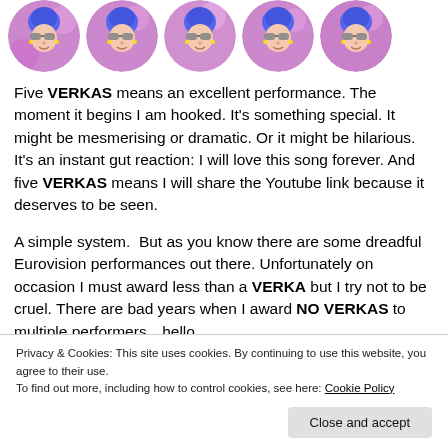[Figure (illustration): Five circular avatar images of the same person with blue hair and sunglasses, on a purple/pink balloon background, arranged in a row]
Five VERKAS means an excellent performance. The moment it begins I am hooked. It's something special. It might be mesmerising or dramatic. Or it might be hilarious. It's an instant gut reaction: I will love this song forever. And five VERKAS means I will share the Youtube link because it deserves to be seen.
A simple system.  But as you know there are some dreadful Eurovision performances out there. Unfortunately on occasion I must award less than a VERKA but I try not to be cruel. There are bad years when I award NO VERKAS to multiple performers…hello,
Privacy & Cookies: This site uses cookies. By continuing to use this website, you agree to their use.
To find out more, including how to control cookies, see here: Cookie Policy
Close and accept